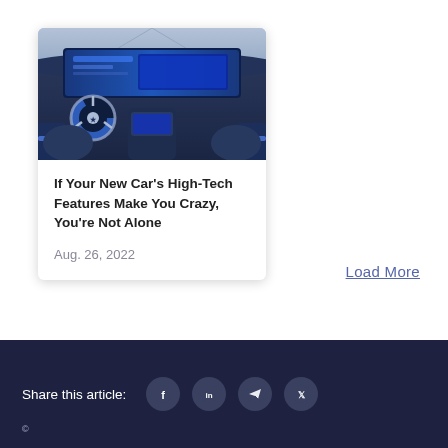[Figure (photo): Mercedes-Benz luxury car interior showing steering wheel, large digital dashboard displays, and blue ambient lighting]
If Your New Car’s High-Tech Features Make You Crazy, You’re Not Alone
Aug. 26, 2022
Load More
Share this article:
[Figure (infographic): Social share icons: Facebook, LinkedIn, Telegram, Twitter]
©